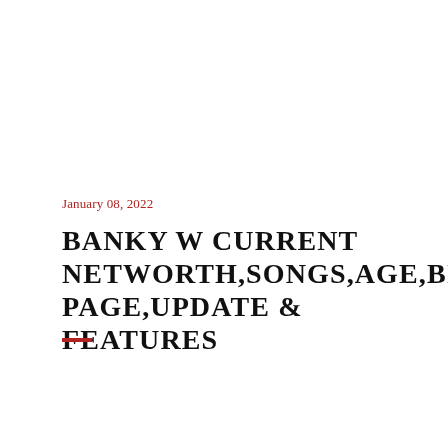January 08, 2022
BANKY W CURRENT NETWORTH,SONGS,AGE,BIOGRAPHY,INSTAGRAM PAGE,UPDATE & FEATURES